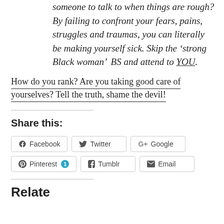someone to talk to when things are rough? By failing to confront your fears, pains, struggles and traumas, you can literally be making yourself sick. Skip the ‘strong Black woman’  BS and attend to YOU.
How do you rank? Are you taking good care of yourselves? Tell the truth, shame the devil!
Share this:
Facebook  Twitter  Google  Pinterest 1  Tumblr  Email
Related